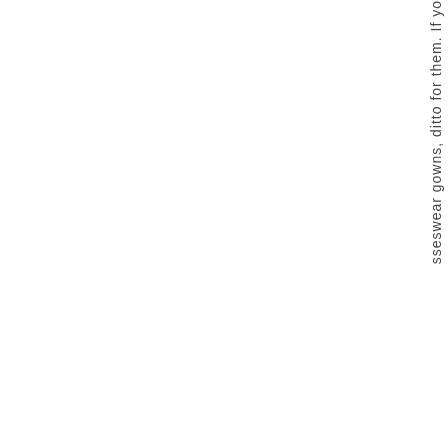sseswear gowns, ditto for them. If yo